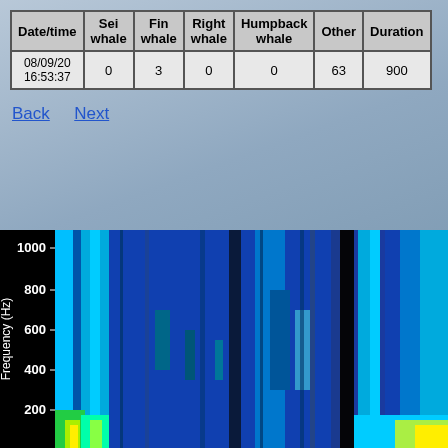| Date/time | Sei whale | Fin whale | Right whale | Humpback whale | Other | Duration |
| --- | --- | --- | --- | --- | --- | --- |
| 08/09/20 16:53:37 | 0 | 3 | 0 | 0 | 63 | 900 |
Back   Next
[Figure (other): Spectrogram showing frequency (Hz) on y-axis from 200 to 1000 Hz, with colored bands (blue, cyan, yellow, green) representing acoustic signal intensity over time. The y-axis label reads 'Frequency (Hz)' rotated vertically.]